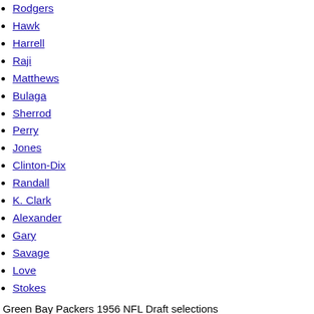Rodgers
Hawk
Harrell
Raji
Matthews
Bulaga
Sherrod
Perry
Jones
Clinton-Dix
Randall
K. Clark
Alexander
Gary
Savage
Love
Stokes
Green Bay Packers 1956 NFL Draft selections
Green Bay Packers 1956 NFL Draft selections
Jack Losch
Forrest Gregg
Cecil Morris
Rob Skoronski